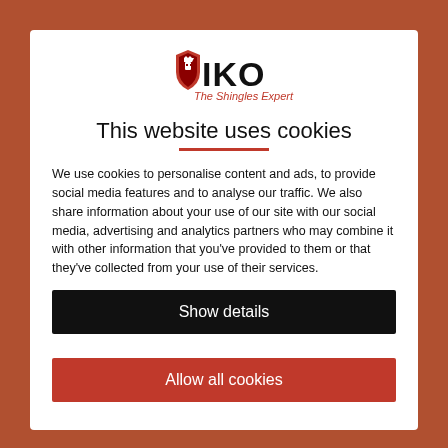[Figure (logo): IKO logo with shield/knight icon and red tagline 'The Shingles Expert']
This website uses cookies
We use cookies to personalise content and ads, to provide social media features and to analyse our traffic. We also share information about your use of our site with our social media, advertising and analytics partners who may combine it with other information that you've provided to them or that they've collected from your use of their services.
Show details
Allow all cookies